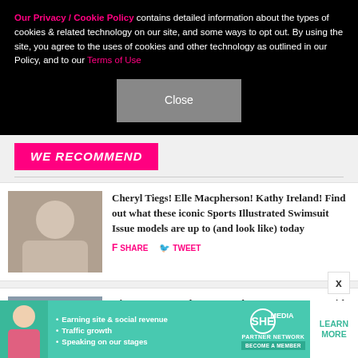Our Privacy / Cookie Policy contains detailed information about the types of cookies & related technology on our site, and some ways to opt out. By using the site, you agree to the uses of cookies and other technology as outlined in our Policy, and to our Terms of Use
Close
WE RECOMMEND
Cheryl Tiegs! Elle Macpherson! Kathy Ireland! Find out what these iconic Sports Illustrated Swimsuit Issue models are up to (and look like) today
SHARE  TWEET
Diane Keaton makes extremely rare appearance with adult children she adopted in her 50s, plus more stars who became moms later in life
SHARE  TWEET
[Figure (infographic): SHE Partner Network advertisement banner with text: Earning site & social revenue, Traffic growth, Speaking on our stages, LEARN MORE button]